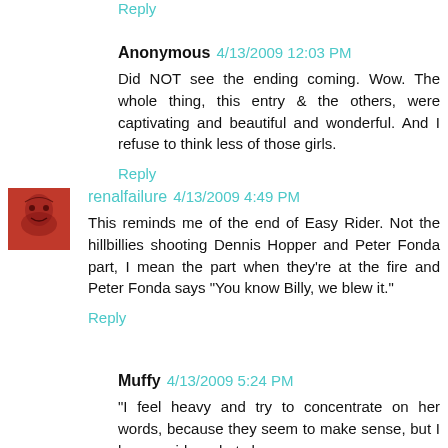Reply
Anonymous 4/13/2009 12:03 PM
Did NOT see the ending coming. Wow. The whole thing, this entry & the others, were captivating and beautiful and wonderful. And I refuse to think less of those girls.
Reply
renalfailure 4/13/2009 4:49 PM
This reminds me of the end of Easy Rider. Not the hillbillies shooting Dennis Hopper and Peter Fonda part, I mean the part when they're at the fire and Peter Fonda says "You know Billy, we blew it."
Reply
Muffy 4/13/2009 5:24 PM
"I feel heavy and try to concentrate on her words, because they seem to make sense, but I have no idea what she